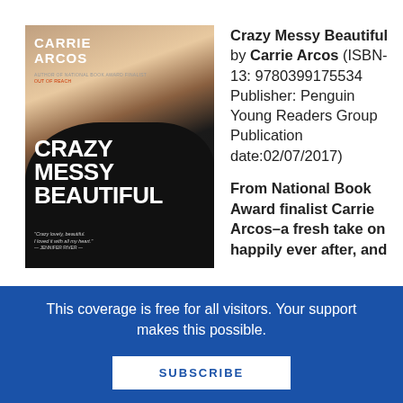[Figure (illustration): Book cover of 'Crazy Messy Beautiful' by Carrie Arcos showing a young woman with red hair against a dark background with the title in large white brushstroke text]
Crazy Messy Beautiful by Carrie Arcos (ISBN-13: 9780399175534 Publisher: Penguin Young Readers Group Publication date:02/07/2017)
From National Book Award finalist Carrie Arcos–a fresh take on happily ever after, and
This coverage is free for all visitors. Your support makes this possible.
SUBSCRIBE